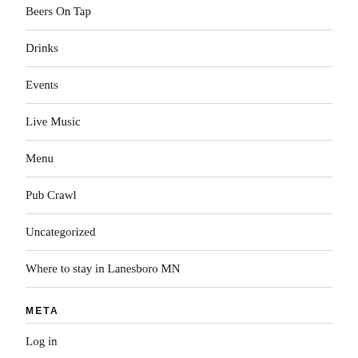Beers On Tap
Drinks
Events
Live Music
Menu
Pub Crawl
Uncategorized
Where to stay in Lanesboro MN
META
Log in